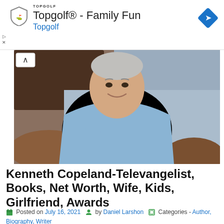[Figure (screenshot): Topgolf advertisement banner with shield logo, 'Topgolf® - Family Fun' title, 'Topgolf' subtitle in blue, and a blue diamond navigation icon]
[Figure (photo): Middle-aged man with gray hair wearing a light blue button-up shirt, smiling, seated on a brown leather couch with dark wood furniture in background]
Kenneth Copeland-Televangelist, Books, Net Worth, Wife, Kids, Girlfriend, Awards
Posted on July 16, 2021  by Daniel Larshon  Categories - Author, Biography, Writer